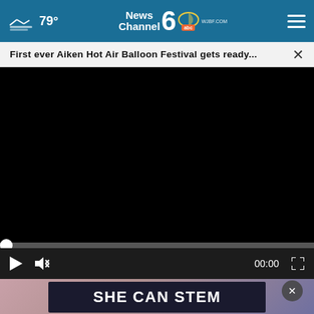79° News Channel 6 abc WJBF.COM
First ever Aiken Hot Air Balloon Festival gets ready...
[Figure (screenshot): Black video player screen with progress bar showing 00:00, play button, mute button, and fullscreen button]
[Figure (photo): Person in white shirt with skeleton graphic, partially visible at bottom of page]
SHE CAN STEM